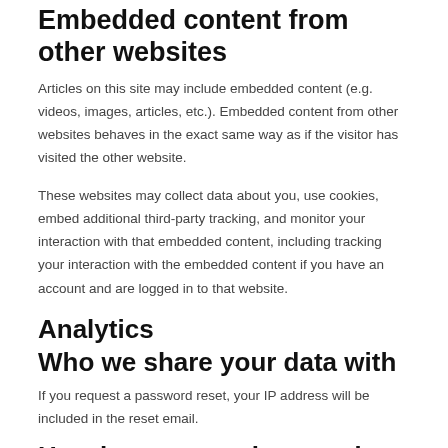Embedded content from other websites
Articles on this site may include embedded content (e.g. videos, images, articles, etc.). Embedded content from other websites behaves in the exact same way as if the visitor has visited the other website.
These websites may collect data about you, use cookies, embed additional third-party tracking, and monitor your interaction with that embedded content, including tracking your interaction with the embedded content if you have an account and are logged in to that website.
Analytics
Who we share your data with
If you request a password reset, your IP address will be included in the reset email.
How long we retain your data
If you leave a comment, the comment and its metadata are